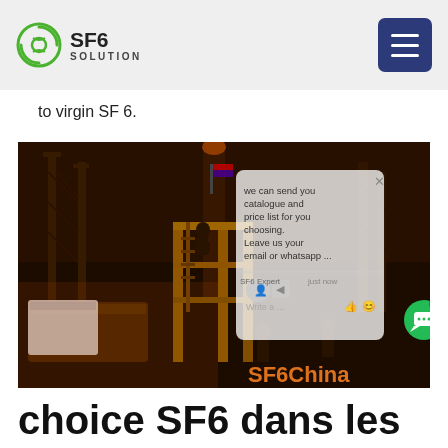SF6 SOLUTION
to virgin SF 6.
[Figure (photo): Nighttime industrial photo of SF6 gas equipment with workers on scaffolding at a substation. A chat overlay appears on the right side of the image with text 'we can send you catalogue and price list for you choosing. Leave us your email or whatsapp ...' and an SF6 Expert chat UI. A green chat bubble button with a badge showing '1' is visible. 'SF6China' watermark in orange appears bottom right.]
choice SF6 dans les